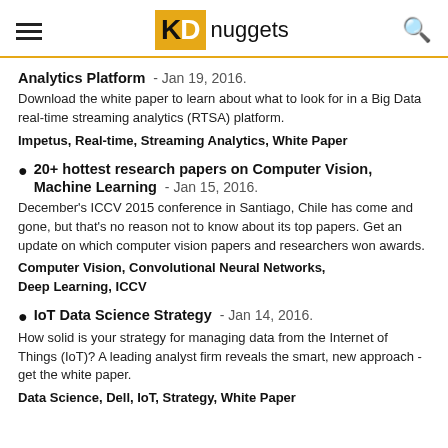KDnuggets
Analytics Platform - Jan 19, 2016. Download the white paper to learn about what to look for in a Big Data real-time streaming analytics (RTSA) platform. Impetus, Real-time, Streaming Analytics, White Paper
20+ hottest research papers on Computer Vision, Machine Learning - Jan 15, 2016. December's ICCV 2015 conference in Santiago, Chile has come and gone, but that's no reason not to know about its top papers. Get an update on which computer vision papers and researchers won awards. Computer Vision, Convolutional Neural Networks, Deep Learning, ICCV
IoT Data Science Strategy - Jan 14, 2016. How solid is your strategy for managing data from the Internet of Things (IoT)? A leading analyst firm reveals the smart, new approach - get the white paper. Data Science, Dell, IoT, Strategy, White Paper